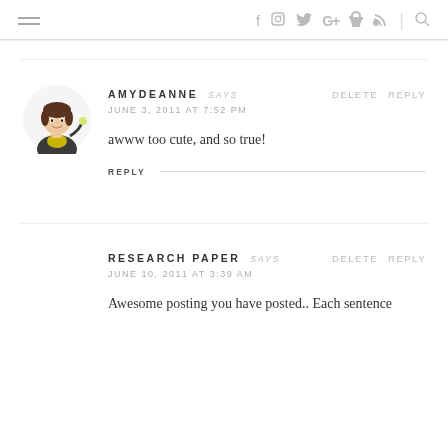≡  f  Instagram  Twitter  G+  Pinterest  RSS  |  Search
AMYDEANNE SAYS
JUNE 3, 2011 AT 7:52 PM
awww too cute, and so true!
DELETE  REPLY
REPLY
RESEARCH PAPER SAYS
JUNE 10, 2011 AT 3:39 AM
Awesome posting you have posted.. Each sentence
DELETE  REPLY